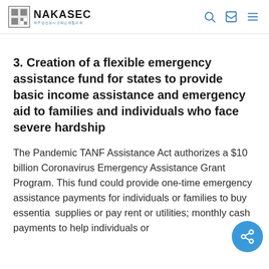NAKASEC
3. Creation of a flexible emergency assistance fund for states to provide basic income assistance and emergency aid to families and individuals who face severe hardship
The Pandemic TANF Assistance Act authorizes a $10 billion Coronavirus Emergency Assistance Grant Program. This fund could provide one-time emergency assistance payments for individuals or families to buy essential supplies or pay rent or utilities; monthly cash payments to help individuals or